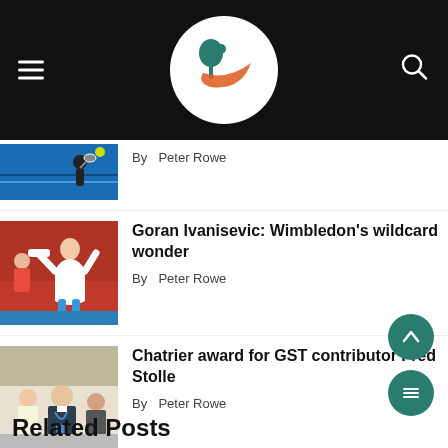Tennis website header with logo, hamburger menu, and search icon
By Peter Rowe
Goran Ivanisevic: Wimbledon's wildcard wonder
By Peter Rowe
Chatrier award for GST contributor Fred Stolle
By Peter Rowe
Related Posts